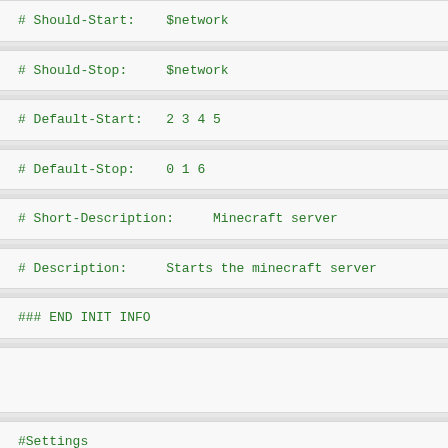# Should-Start:    $network
# Should-Stop:     $network
# Default-Start:   2 3 4 5
# Default-Stop:    0 1 6
# Short-Description:     Minecraft server
# Description:     Starts the minecraft server
### END INIT INFO
#Settings
SERVICE='minecraft_server.jar'